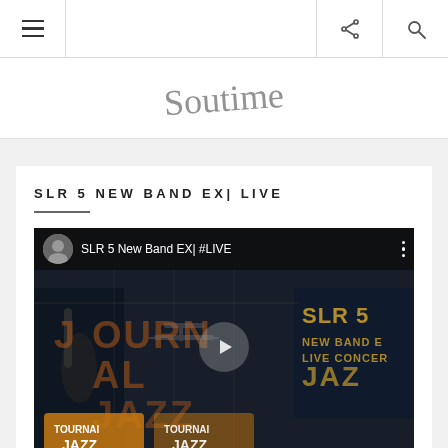Navigation bar with hamburger menu, logo/site name, share icon, search icon
[Figure (screenshot): Website logo/banner area showing cursive text 'Soutime' or similar script logo]
SLR 5 NEW BAND EX| LIVE
[Figure (screenshot): YouTube video thumbnail for 'SLR 5 New Band EX| #LIVE' showing a dark concert scene with 'TOURNAI JAZZ' branding, journal/marquee sign text, and a play button overlay. The video top bar shows a circular avatar, video title 'SLR 5 New Band EX| #LIVE', and a three-dot menu icon.]